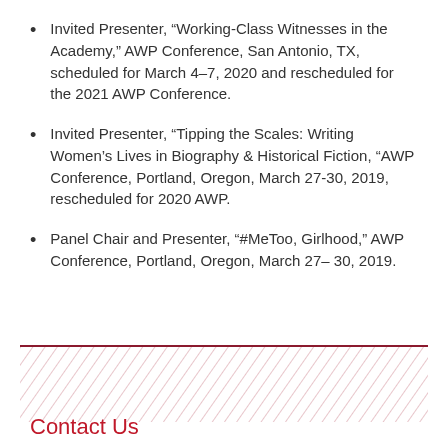Invited Presenter, “Working-Class Witnesses in the Academy,” AWP Conference, San Antonio, TX, scheduled for March 4–7, 2020 and rescheduled for the 2021 AWP Conference.
Invited Presenter, “Tipping the Scales: Writing Women’s Lives in Biography & Historical Fiction, “AWP Conference, Portland, Oregon, March 27-30, 2019, rescheduled for 2020 AWP.
Panel Chair and Presenter, “#MeToo, Girlhood,” AWP Conference, Portland, Oregon, March 27– 30, 2019.
[Figure (illustration): Decorative diagonal hatch pattern in light red/pink lines on white background, forming a footer band below a dark red horizontal rule.]
Contact Us